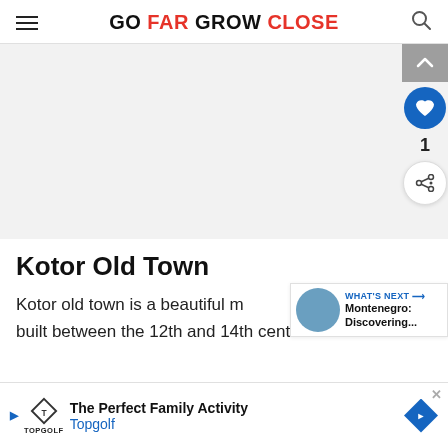GO FAR GROW CLOSE
[Figure (photo): Hero image area - light gray placeholder for article photo]
Kotor Old Town
Kotor old town is a beautiful m built between the 12th and 14th centuries
[Figure (infographic): What's Next promo block: Montenegro: Discovering...]
[Figure (infographic): Ad bar: The Perfect Family Activity - Topgolf]